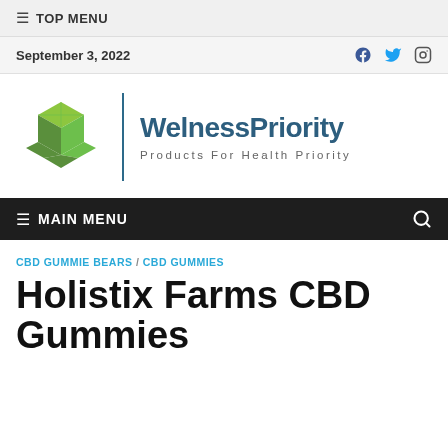≡ TOP MENU
September 3, 2022
[Figure (logo): WelnessPriority logo: green heart/cube icon, vertical divider, text 'WelnessPriority' in dark blue bold, subtitle 'Products For Health Priority' in gray spaced letters]
≡ MAIN MENU
CBD GUMMIE BEARS / CBD GUMMIES
Holistix Farms CBD Gummies